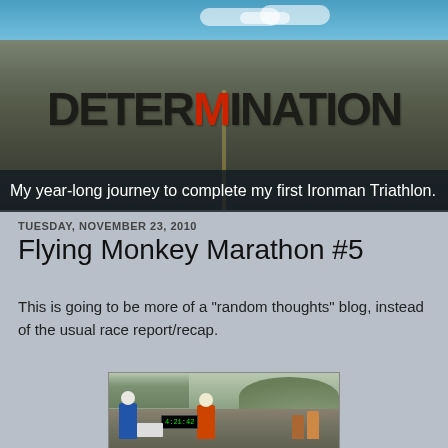[Figure (photo): Blog header banner showing the word DETERMINATION printed on asphalt/road surface with an Ironman triathlon logo (red figure) replacing the letter M, with sky and clouds in background]
My year-long journey to complete my first Ironman Triathlon.
TUESDAY, NOVEMBER 23, 2010
Flying Monkey Marathon #5
This is going to be more of a "random thoughts" blog, instead of the usual race report/recap.
[Figure (photo): Race finish area photo showing runners and a digital race clock displaying 4:21:42, with trees and hills in the background]